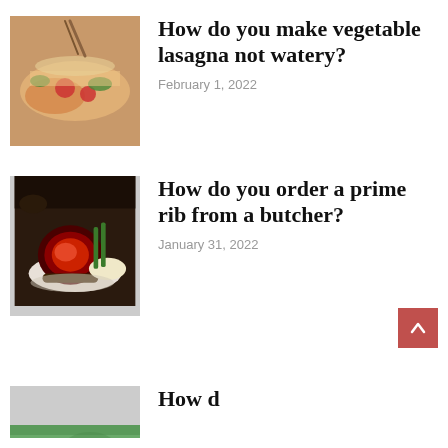[Figure (photo): Photo of vegetable lasagna with tomatoes and greens]
How do you make vegetable lasagna not watery?
February 1, 2022
[Figure (photo): Photo of prime rib roast on a plate with sides]
How do you order a prime rib from a butcher?
January 31, 2022
[Figure (photo): Partial photo of a third food article (cropped)]
How d...